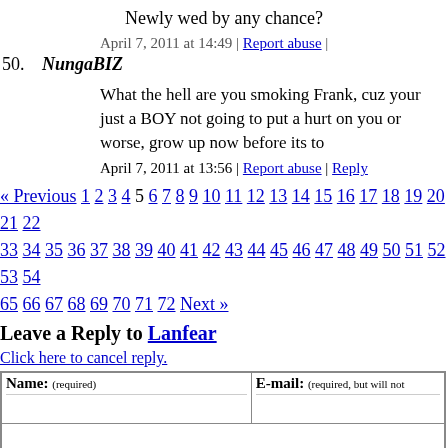Newly wed by any chance?
April 7, 2011 at 14:49 | Report abuse |
50. NungaBIZ
What the hell are you smoking Frank, cuz your just a BOY not going to put a hurt on you or worse, grow up now before its to
April 7, 2011 at 13:56 | Report abuse | Reply
« Previous 1 2 3 4 5 6 7 8 9 10 11 12 13 14 15 16 17 18 19 20 21 22 33 34 35 36 37 38 39 40 41 42 43 44 45 46 47 48 49 50 51 52 53 54 65 66 67 68 69 70 71 72 Next »
Leave a Reply to Lanfear
Click here to cancel reply.
| Name: (required) | E-mail: (required, but will not) |
| --- | --- |
|  |  |